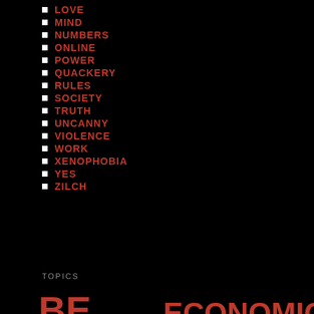LOVE
MIND
NUMBERS
ONLINE
POWER
QUACKERY
RULES
SOCIETY
TRUTH
UNCANNY
VIOLENCE
WORK
XENOPHOBIA
YES
ZILCH
TOPICS
[Figure (infographic): Word cloud with topics in varying sizes: ART, BE, CALM, DO, ECONOMICS, FUTURE, GOVERNMENT, HAPPINESS, INNOVATION, JUSTICE, KNOWLEDGE, LOVE, MIND, NUMBERS, ONLINE, POWER]